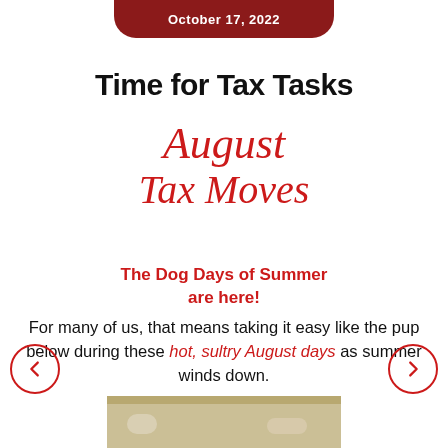October 17, 2022
Time for Tax Tasks
August Tax Moves
The Dog Days of Summer are here!
For many of us, that means taking it easy like the pup below during these hot, sultry August days as summer winds down.
[Figure (photo): Photo of a dog/pup on the floor]